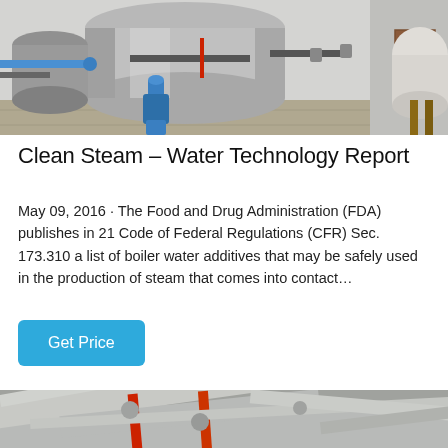[Figure (photo): Industrial boiler room with large cylindrical silver boilers, blue pipes and connectors, valves, and pressure vessels in a facility setting.]
Clean Steam – Water Technology Report
May 09, 2016 · The Food and Drug Administration (FDA) publishes in 21 Code of Federal Regulations (CFR) Sec. 173.310 a list of boiler water additives that may be safely used in the production of steam that comes into contact…
Get Price
[Figure (photo): Industrial pipe system with silver and red pipes crossing overhead in a large facility.]